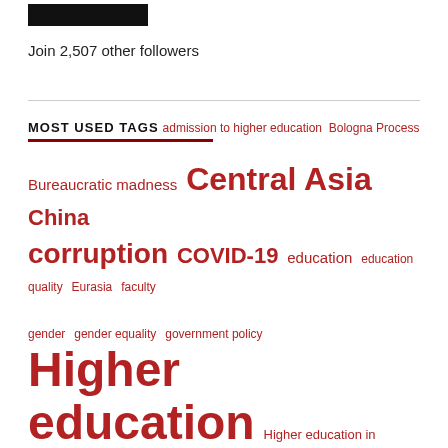[Figure (other): Black button/banner at top left]
Join 2,507 other followers
MOST USED TAGS
admission to higher education  Bologna Process  Bureaucratic madness  Central Asia  China  corruption  COVID-19  education  education quality  Eurasia  faculty  gender  gender equality  government policy  Higher education  Higher education in Central Asia  higher education reform  human rights  India  internationalization  international students  Kazakhstan  khorog  Kyrgyzstan  Nazarbayev University  Nursultan